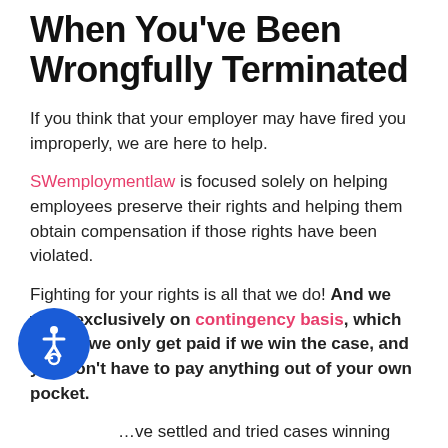When You've Been Wrongfully Terminated
If you think that your employer may have fired you improperly, we are here to help.
SWemploymentlaw is focused solely on helping employees preserve their rights and helping them obtain compensation if those rights have been violated.
Fighting for your rights is all that we do! And we work exclusively on contingency basis, which means we only get paid if we win the case, and you don't have to pay anything out of your own pocket.
…we settled and tried cases winning millions of dollars in awards for clients whose employers have wrongfully terminated them, in addition to other ways